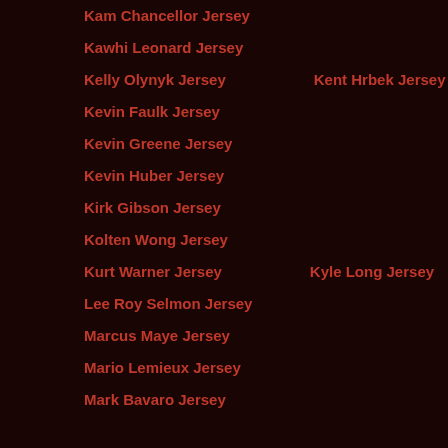Kam Chancellor Jersey
Kawhi Leonard Jersey
Kelly Olynyk Jersey
Kent Hrbek Jersey
Kevin Faulk Jersey
Kevin Greene Jersey
Kevin Huber Jersey
Kirk Gibson Jersey
Kolten Wong Jersey
Kurt Warner Jersey
Kyle Long Jersey
Lee Roy Selmon Jersey
Marcus Maye Jersey
Mario Lemieux Jersey
Mark Bavaro Jersey